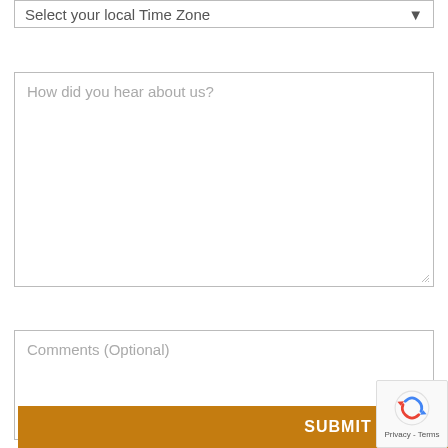Select your local Time Zone
How did you hear about us?
Comments (Optional)
SUBMIT